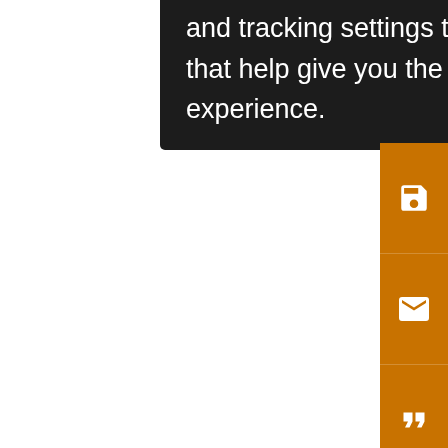and tracking settings to store information that help give you the very best browsing experience.
Clim
10.1
[Figure (screenshot): Orange sidebar with icons: save (floppy disk), email (envelope), cite (quotation marks), alert (bell with slash), share (network icon)]
Fig.
Rel fre dry at 0